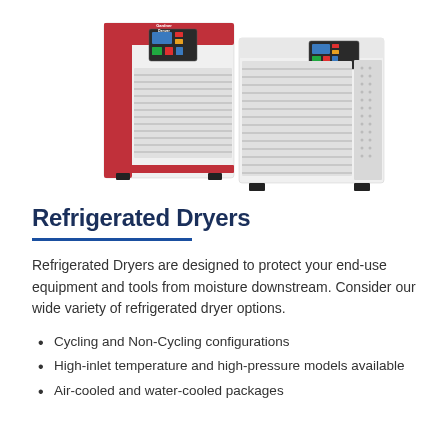[Figure (photo): Two Gardner Denver refrigerated air dryers side by side — smaller unit on left with red side panels and white front grille with control panel display, larger unit on right with white body and perforated side panel, both on black feet]
Refrigerated Dryers
Refrigerated Dryers are designed to protect your end-use equipment and tools from moisture downstream. Consider our wide variety of refrigerated dryer options.
Cycling and Non-Cycling configurations
High-inlet temperature and high-pressure models available
Air-cooled and water-cooled packages